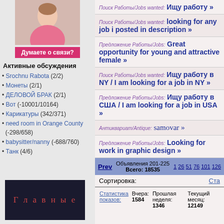[Figure (photo): Photo of a woman on the left column top area]
[Figure (illustration): Pink banner reading Думаете о связи?]
Активные обсуждения
Srochnu Rabota (2/2)
Монеты (2/1)
ДЕЛОВОЙ БРАК (2/1)
Вот (-10001/10164)
Карикатуры (342/371)
need room in Orange County (-298/658)
babysitter/nanny (-688/760)
Танк (4/6)
[Figure (illustration): Dark box with Главные text in red]
Поиск Работы/Jobs wanted: Ищу работу »
Поиск Работы/Jobs wanted: looking for any job i posted in description »
Предложение Работы/Jobs: Great opportunity for young and attractive female »
Поиск Работы/Jobs wanted: Ищу работу в NY / I am looking for a job in NY »
Предложение Работы/Jobs: Ищу работу в США / I am looking for a job in USA »
Антиквариат/Antique: samovar »
Предложение Работы/Jobs: Looking for work in graphic design »
Prev  Объявления 201-225  Всего: 18535  1 26 51 76 101 126
Сортировка:  Ста
| Статистика показов: | Вчера: | Прошлая неделя: | Текущий месяц: |
| --- | --- | --- | --- |
|  | 1584 | 1346 | 12149 |